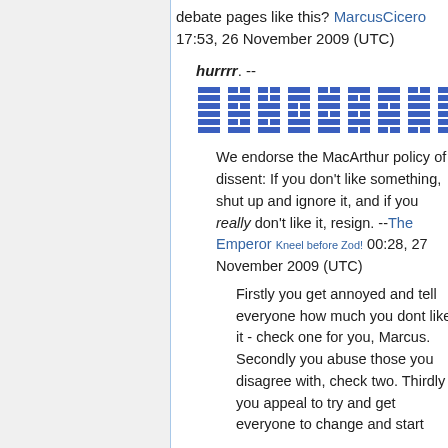debate pages like this? MarcusCicero 17:53, 26 November 2009 (UTC)
hurrrr. --
[Figure (other): Row of I Ching hexagram symbols in blue on white, decorative signature element]
We endorse the MacArthur policy of dissent: If you don't like something, shut up and ignore it, and if you really don't like it, resign. --The Emperor Kneel before Zod! 00:28, 27 November 2009 (UTC)
Firstly you get annoyed and tell everyone how much you dont like it - check one for you, Marcus. Secondly you abuse those you disagree with, check two. Thirdly you appeal to try and get everyone to change and start